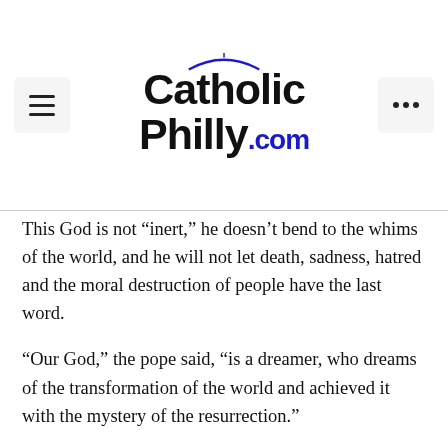CatholicPhilly.com
This God is not “inert,” he doesn’t bend to the whims of the world, and he will not let death, sadness, hatred and the moral destruction of people have the last word.
“Our God,” the pope said, “is a dreamer, who dreams of the transformation of the world and achieved it with the mystery of the resurrection.”
The pope prayed that St. Mary Magdalene would help people listen to Jesus calling their name as they weep and mourn, and that they then venture forth with hearts filled with joy, proclaiming his living presence to others.